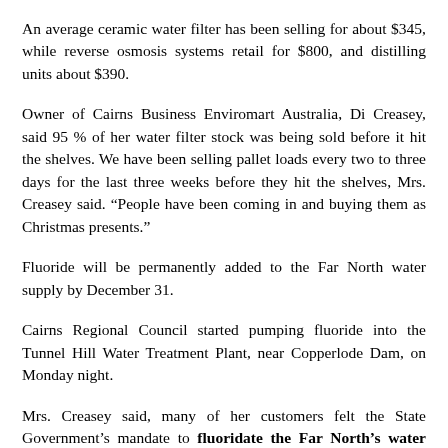An average ceramic water filter has been selling for about $345, while reverse osmosis systems retail for $800, and distilling units about $390.
Owner of Cairns Business Enviromart Australia, Di Creasey, said 95 % of her water filter stock was being sold before it hit the shelves. We have been selling pallet loads every two to three days for the last three weeks before they hit the shelves, Mrs. Creasey said. “People have been coming in and buying them as Christmas presents.”
Fluoride will be permanently added to the Far North water supply by December 31.
Cairns Regional Council started pumping fluoride into the Tunnel Hill Water Treatment Plant, near Copperlode Dam, on Monday night.
Mrs. Creasey said, many of her customers felt the State Government’s mandate to fluoridate the Far North’s water was undemocratic.